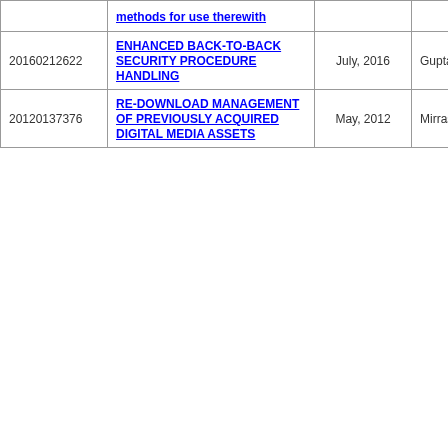|  |  |  |  |
| --- | --- | --- | --- |
|  | methods for use therewith |  |  |
| 20160212622 | ENHANCED BACK-TO-BACK SECURITY PROCEDURE HANDLING | July, 2016 | Gupta et al. |
| 20120137376 | RE-DOWNLOAD MANAGEMENT OF PREVIOUSLY ACQUIRED DIGITAL MEDIA ASSETS | May, 2012 | Mirrashidi et al. |